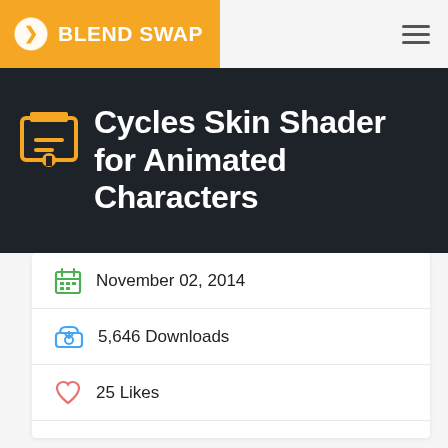BLEND SWAP
Cycles Skin Shader for Animated Characters
November 02, 2014
5,646 Downloads
25 Likes
Blender 2.7x
Render: Cycles